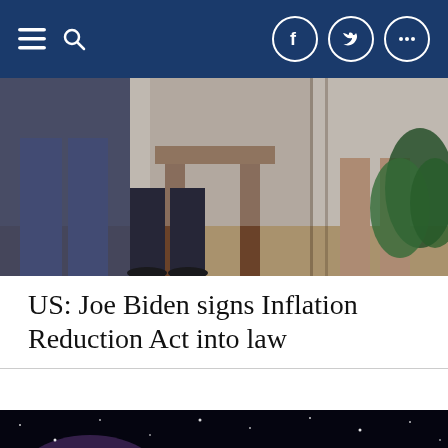Navigation bar with hamburger menu, search icon, Facebook, Twitter, and share social icons
[Figure (photo): Indoor scene showing legs of people standing near a wooden stool/chair, with a green plant visible on the right side, appears to be a White House or government building interior]
US: Joe Biden signs Inflation Reduction Act into law
[Figure (photo): Artistic space illustration showing a bright comet or meteor streaking across a star-filled night sky with a galaxy visible in the background. Navigation overlay buttons (back arrow and up arrow) visible in the lower left corner.]